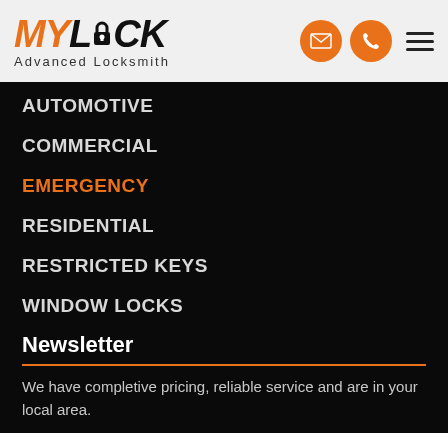[Figure (logo): MY LOCK Advanced Locksmith logo with orange MY, black LOCK with keyhole icon, and tagline Advanced Locksmith]
[Figure (infographic): Header icons: orange circle with envelope, orange circle with phone, hamburger menu]
AUTOMOTIVE
COMMERCIAL
EMERGENCY
RESIDENTIAL
RESTRICTED KEYS
WINDOW LOCKS
Newsletter
We have completive pricing, reliable service and are in your local area.
Your Email address
SEND
[Figure (other): reCAPTCHA badge with blue recycling-style logo and Privacy - Terms links]